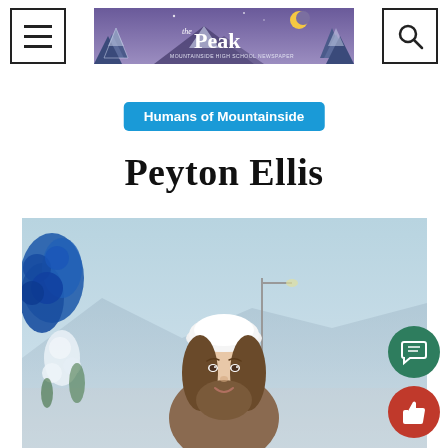The Peak — Humans of Mountainside
Humans of Mountainside
Peyton Ellis
[Figure (photo): A young woman wearing a white beret smiling at the camera outdoors, with blue flowers/decorations on the left and a misty mountain backdrop with a street lamp visible.]